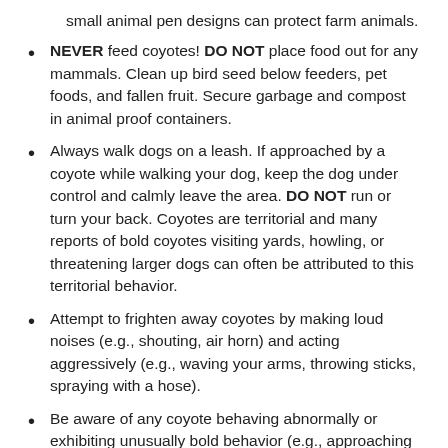small animal pen designs can protect farm animals.
NEVER feed coyotes!  DO NOT place food out for any mammals.  Clean up bird seed below feeders, pet foods, and fallen fruit.  Secure garbage and compost in animal proof containers.
Always walk dogs on a leash.  If approached by a coyote while walking your dog, keep the dog under control and calmly leave the area.  DO NOT run or turn your back.  Coyotes are territorial and many reports of bold coyotes visiting yards, howling, or threatening larger dogs can often be attributed to this territorial behavior.
Attempt to frighten away coyotes by making loud noises (e.g., shouting, air horn) and acting aggressively (e.g., waving your arms, throwing sticks, spraying with a hose).
Be aware of any coyote behaving abnormally or exhibiting unusually bold behavior (e.g., approaching people for food, attacking leashed pets, biting people or pets without provocation).